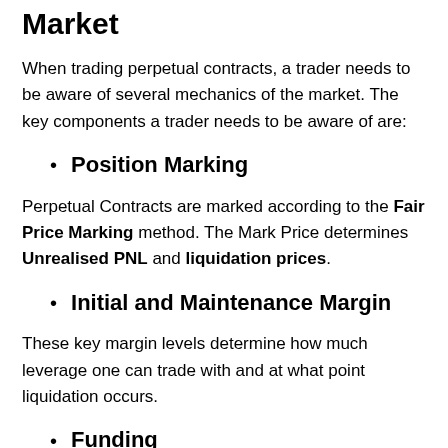Market
When trading perpetual contracts, a trader needs to be aware of several mechanics of the market. The key components a trader needs to be aware of are:
Position Marking
Perpetual Contracts are marked according to the Fair Price Marking method. The Mark Price determines Unrealised PNL and liquidation prices.
Initial and Maintenance Margin
These key margin levels determine how much leverage one can trade with and at what point liquidation occurs.
Funding
Periodic payments exchanged between the buyer and seller...